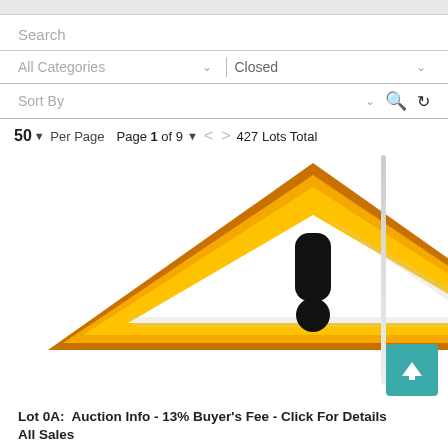Search
All Categories | Closed
Sort By
50 Per Page  Page 1 of 9  427 Lots Total
[Figure (illustration): Yellow warning triangle with black exclamation mark inside, standard caution/warning sign icon]
Lot 0A:  Auction Info - 13% Buyer's Fee - Click For Details  All Sales